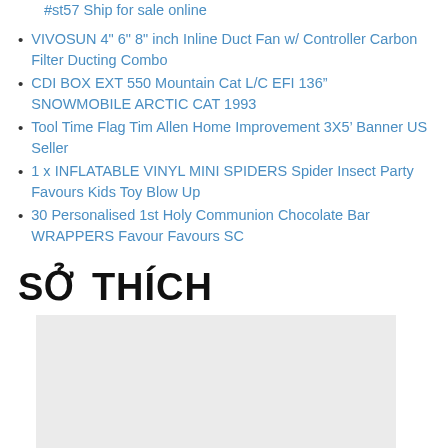#st57 Ship for sale online
VIVOSUN 4" 6" 8" inch Inline Duct Fan w/ Controller Carbon Filter Ducting Combo
CDI BOX EXT 550 Mountain Cat L/C EFI 136″ SNOWMOBILE ARCTIC CAT 1993
Tool Time Flag Tim Allen Home Improvement 3X5' Banner US Seller
1 x INFLATABLE VINYL MINI SPIDERS Spider Insect Party Favours Kids Toy Blow Up
30 Personalised 1st Holy Communion Chocolate Bar WRAPPERS Favour Favours SC
SỞ THÍCH
[Figure (other): Light gray placeholder rectangle image area]